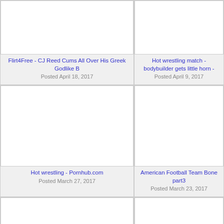[Figure (screenshot): Blank white thumbnail placeholder, top-left card]
Flirt4Free - CJ Reed Cums All Over His Greek Godlike B
Posted April 18, 2017
[Figure (screenshot): Blank white thumbnail placeholder, top-right card]
Hot wrestling match - bodybuilder gets little horn -
Posted April 9, 2017
[Figure (screenshot): Blank white thumbnail placeholder, middle-left card]
Hot wrestling - Pornhub.com
Posted March 27, 2017
[Figure (screenshot): Blank white thumbnail placeholder, middle-right card]
American Football Team Bone part3
Posted March 23, 2017
[Figure (screenshot): Blank white thumbnail placeholder, bottom-left card]
big cock cute hunks gay Studly
[Figure (screenshot): Blank white thumbnail placeholder, bottom-right card]
Ripped Euro Amateur Bareba